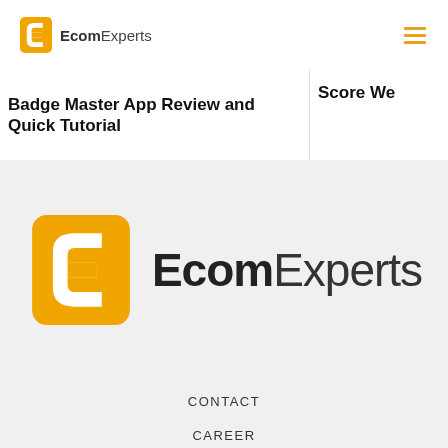EcomExperts
Badge Master App Review and Quick Tutorial
Score We
[Figure (logo): EcomExperts logo — orange stylized 'e' icon and bold 'Ecom' with light 'Experts' text]
CONTACT
CAREER